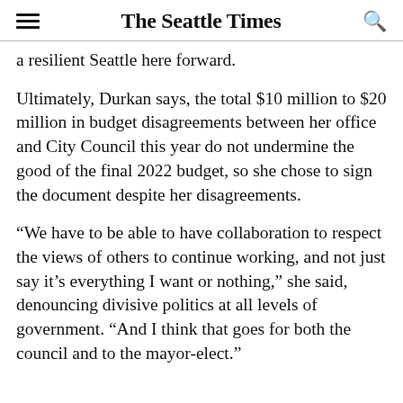The Seattle Times
a resilient Seattle here forward.
Ultimately, Durkan says, the total $10 million to $20 million in budget disagreements between her office and City Council this year do not undermine the good of the final 2022 budget, so she chose to sign the document despite her disagreements.
“We have to be able to have collaboration to respect the views of others to continue working, and not just say it’s everything I want or nothing,” she said, denouncing divisive politics at all levels of government. “And I think that goes for both the council and to the mayor-elect.”